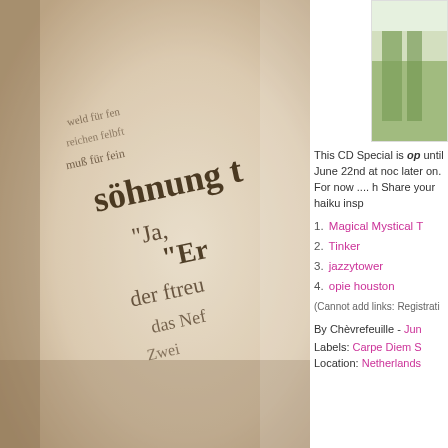[Figure (photo): Close-up photo of an old book with German Gothic/blackletter text, warm sepia tones, text partially visible including words like 'söhnung', 'Ja', 'Er', 'freu', 'der', 'das']
[Figure (photo): Small thumbnail image in upper right showing a green plant or nature scene]
This CD Special is op until June 22nd at noc later on. For now .... h Share your haiku insp
1. Magical Mystical T
2. Tinker
3. jazzytower
4. opie houston
(Cannot add links: Registrati
By Chèvrefeuille - Jun
Labels: Carpe Diem S
Location: Netherlands